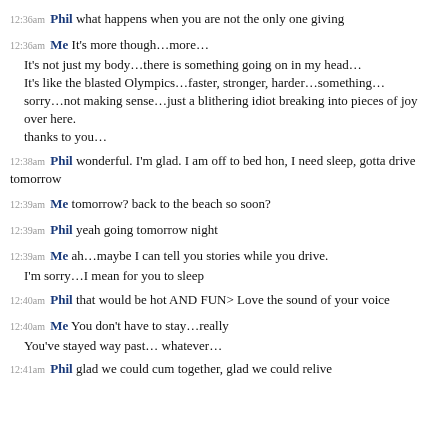12:36am Phil what happens when you are not the only one giving
12:36am Me It's more though…more…
It's not just my body…there is something going on in my head…
It's like the blasted Olympics…faster, stronger, harder…something…
sorry…not making sense…just a blithering idiot breaking into pieces of joy over here.
thanks to you…
12:38am Phil wonderful. I'm glad. I am off to bed hon, I need sleep, gotta drive tomorrow
12:39am Me tomorrow? back to the beach so soon?
12:39am Phil yeah going tomorrow night
12:39am Me ah…maybe I can tell you stories while you drive.
I'm sorry…I mean for you to sleep
12:40am Phil that would be hot AND FUN> Love the sound of your voice
12:40am Me You don't have to stay…really
You've stayed way past… whatever…
12:41am Phil glad we could cum together, glad we could relive